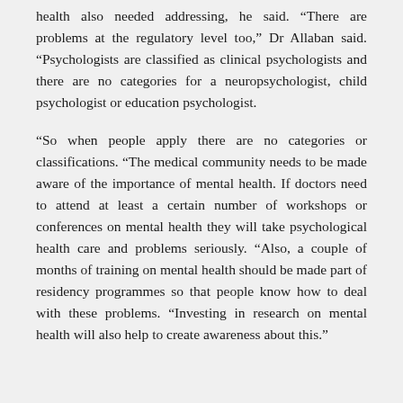health also needed addressing, he said. “There are problems at the regulatory level too,” Dr Allaban said. “Psychologists are classified as clinical psychologists and there are no categories for a neuropsychologist, child psychologist or education psychologist.
“So when people apply there are no categories or classifications. “The medical community needs to be made aware of the importance of mental health. If doctors need to attend at least a certain number of workshops or conferences on mental health they will take psychological health care and problems seriously. “Also, a couple of months of training on mental health should be made part of residency programmes so that people know how to deal with these problems. “Investing in research on mental health will also help to create awareness about this.”